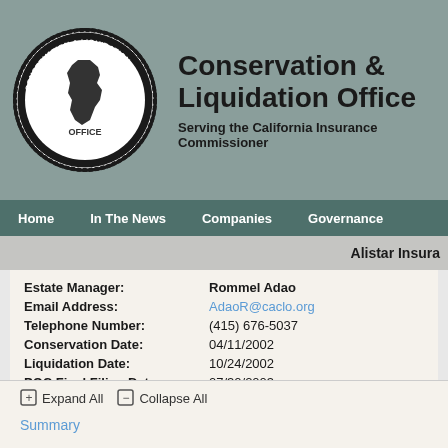[Figure (logo): Conservation & Liquidation Office seal with California state outline]
Conservation & Liquidation Office
Serving the California Insurance Commissioner
Home  In The News  Companies  Governance
Alistar Insura
Estate Manager: Rommel Adao
Email Address: AdaoR@caclo.org
Telephone Number: (415) 676-5037
Conservation Date: 04/11/2002
Liquidation Date: 10/24/2002
POC Final Filing Date: 07/30/2003
Closure Date: 03/23/2012
Expand All  Collapse All
Summary